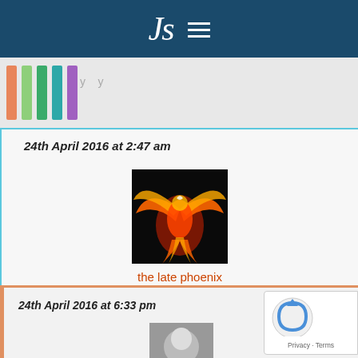Js ≡
[Figure (illustration): Colorful vertical bars (orange, light green, dark green, teal, purple) on a grey background strip, partial navigation breadcrumb text above]
24th April 2016 at 2:47 am
[Figure (photo): A stylized phoenix bird illustration with orange and red flame-like wings on a black background]
the late phoenix
Reply to this comment
I love you, Juli…………I love you………always remember that……I never want to get on your bad side *)
24th April 2016 at 6:33 pm